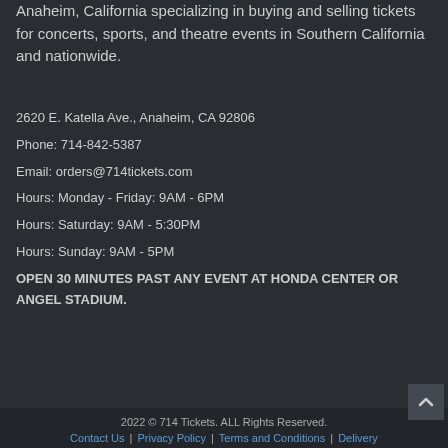Anaheim, California specializing in buying and selling tickets for concerts, sports, and theatre events in Southern California and nationwide.
2620 E. Katella Ave., Anaheim, CA 92806
Phone: 714-842-5387
Email: orders@714tickets.com
Hours: Monday - Friday: 9AM - 6PM
Hours: Saturday: 9AM - 5:30PM
Hours: Sunday: 9AM - 5PM
OPEN 30 MINUTES PAST ANY EVENT AT HONDA CENTER OR ANGEL STADIUM.
2022 © 714 Tickets. ALL Rights Reserved. | Contact Us | Privacy Policy | Terms and Conditions | Delivery